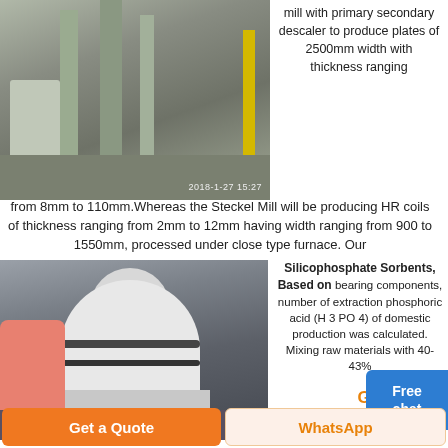[Figure (photo): Industrial rolling mill facility interior showing large machinery, structural columns, yellow vertical beam, concrete floor. Timestamp 2018-1-27 15:27 visible.]
mill with primary secondary descaler to produce plates of 2500mm width with thickness ranging from 8mm to 110mm.Whereas the Steckel Mill will be producing HR coils of thickness ranging from 2mm to 12mm having width ranging from 900 to 1550mm, processed under close type furnace. Our
Get P
Free chat
[Figure (photo): Large industrial vertical roller mill machine, white cylindrical body with black banding, red/brown chute on left side, inside warehouse/factory building.]
Silicophosphate Sorbents, Based on bearing components, number of extraction phosphoric acid (H 3 PO 4) of domestic production was calculated. Mixing raw materials with 40-43%
Get a Quote
WhatsApp